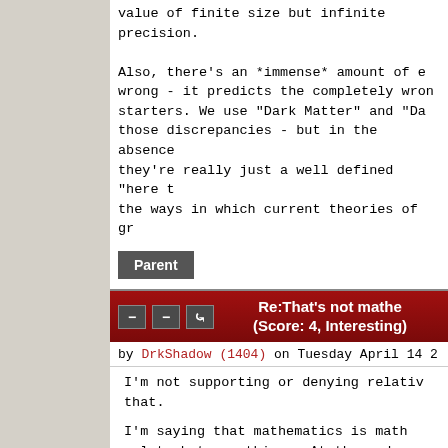value of finite size but infinite precision.
Also, there's an *immense* amount of e... wrong - it predicts the completely wro... starters. We use "Dark Matter" and "Da... those discrepancies - but in the absence... they're really just a well defined "here t... the ways in which current theories of gr...
Parent
Re:That's not mathe... (Score: 4, Interesting)
by DrkShadow (1404) on Tuesday April 14 2...
I'm not supporting or denying relativ... that.
I'm saying that mathematics is math... relate between things. At the end, w... numbers out, but whatever their pre... from which those numbers came. Th... figures which applies here -- whateve... can only go so far. (Yes, they're taken... would be an error. There are error ba... that is taken into account with calcul...
Pi, as an example, is not a "number w...